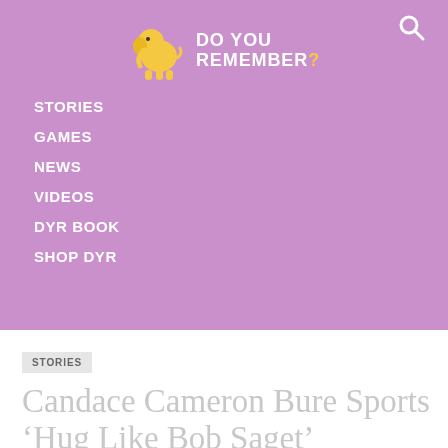DO YOU REMEMBER?
STORIES
GAMES
NEWS
VIDEOS
DYR BOOK
SHOP DYR
STORIES
Candace Cameron Bure Sports ‘Hug Like Bob Saget’